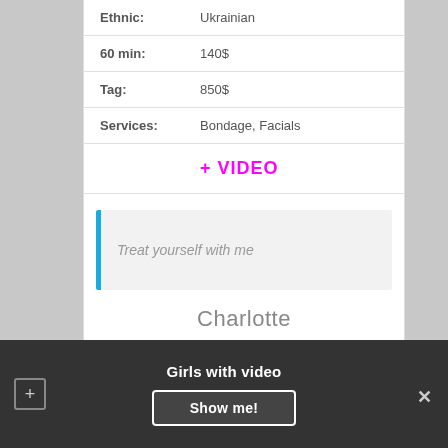| Ethnic: | Ukrainian |
| 60 min: | 140$ |
| Tag: | 850$ |
| Services: | Bondage, Facials |
+ VIDEO
Treat yourself with me
Charlotte
[Figure (photo): Partial photo of a person with dark hair in a ponytail]
Girls with video  Show me!